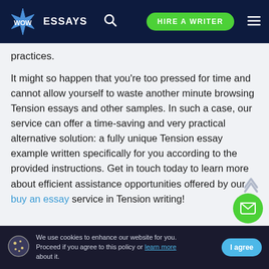WOW ESSAYS | HIRE A WRITER
practices.
It might so happen that you're too pressed for time and cannot allow yourself to waste another minute browsing Tension essays and other samples. In such a case, our service can offer a time-saving and very practical alternative solution: a fully unique Tension essay example written specifically for you according to the provided instructions. Get in touch today to learn more about efficient assistance opportunities offered by our buy an essay service in Tension writing!
We use cookies to enhance our website for you. Proceed if you agree to this policy or learn more about it. | I agree